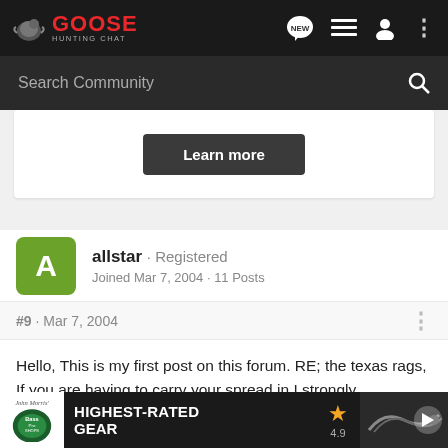GOOSE HUNTING CHAT
Search Community
[Figure (screenshot): Learn more button inside a white card/panel]
allstar · Registered
Joined Mar 7, 2004 · 11 Posts
#9 · Mar 7, 2004
Hello, This is my first post on this forum. RE; the texas rags, If you are having to carry your spread in I strongly recommend these. They dont look as good as windsocks but they do work! You can already assemb them
[Figure (infographic): Bass Pro Shops ad banner: HIGHEST-RATED GEAR, rating 4.9 stars, with product image and play button]